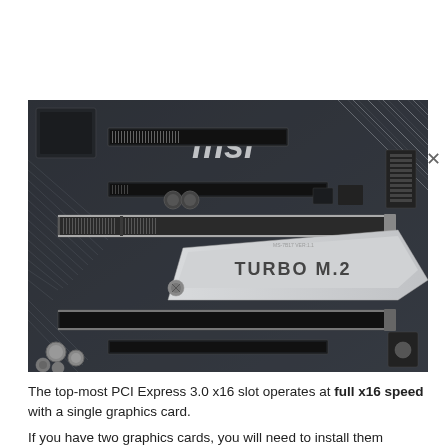[Figure (photo): Close-up photograph of an MSI motherboard showing PCI Express slots, a Turbo M.2 slot cover, and various connectors and components on a dark PCB.]
The top-most PCI Express 3.0 x16 slot operates at full x16 speed with a single graphics card.
If you have two graphics cards, you will need to install them